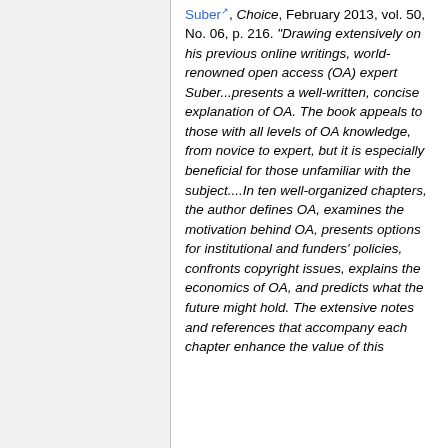Suber, Choice, February 2013, vol. 50, No. 06, p. 216. "Drawing extensively on his previous online writings, world-renowned open access (OA) expert Suber...presents a well-written, concise explanation of OA. The book appeals to those with all levels of OA knowledge, from novice to expert, but it is especially beneficial for those unfamiliar with the subject....In ten well-organized chapters, the author defines OA, examines the motivation behind OA, presents options for institutional and funders' policies, confronts copyright issues, explains the economics of OA, and predicts what the future might hold. The extensive notes and references that accompany each chapter enhance the value of this